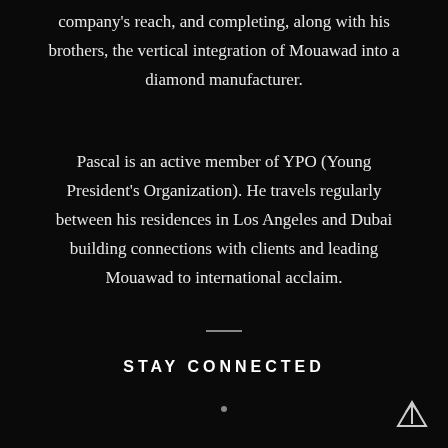company's reach, and completing, along with his brothers, the vertical integration of Mouawad into a diamond manufacturer.
Pascal is an active member of YPO (Young President's Organization). He travels regularly between his residences in Los Angeles and Dubai building connections with clients and leading Mouawad to international acclaim.
STAY CONNECTED